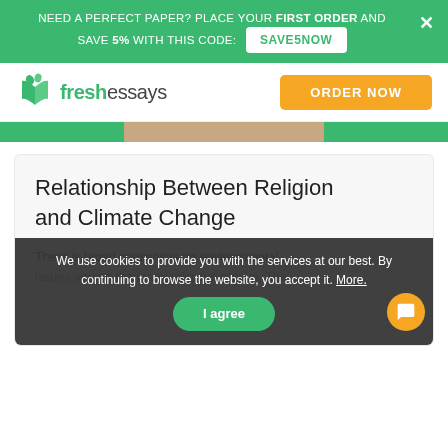NEED A PERFECT PAPER? PLACE YOUR FIRST ORDER AND SAVE 5% WITH THIS CODE: SAVE5NOW
[Figure (logo): FreshEssays logo with green open book icon and text 'freshessays']
Relationship Between Religion and Climate Change
There is broad consensus on environmental issues among the many religious groups. The ... caring for the environment and their sacred writings urge believers to be guardians of the
We use cookies to provide you with the services at our best. By continuing to browse the website, you accept it. More.